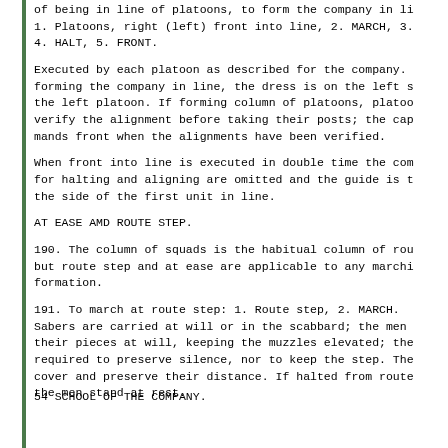of being in line of platoons, to form the company in li... 1. Platoons, right (left) front into line, 2. MARCH, 3. 4. HALT, 5. FRONT.
Executed by each platoon as described for the company. forming the company in line, the dress is on the left s the left platoon. If forming column of platoons, platoo verify the alignment before taking their posts; the cap mands front when the alignments have been verified.
When front into line is executed in double time the com for halting and aligning are omitted and the guide is t the side of the first unit in line.
AT EASE AMD ROUTE STEP.
190. The column of squads is the habitual column of rou but route step and at ease are applicable to any marchi formation.
191. To march at route step: 1. Route step, 2. MARCH. Sabers are carried at will or in the scabbard; the men their pieces at will, keeping the muzzles elevated; the required to preserve silence, nor to keep the step. The cover and preserve their distance. If halted from route the men stand at rest.
54 SCHOOL OF THE COMPANY.